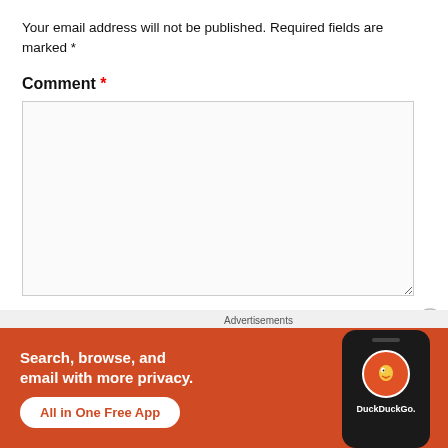Your email address will not be published. Required fields are marked *
Comment *
[Figure (other): Empty comment text area input box with resize handle]
[Figure (other): Close button (X in circle)]
Advertisements
[Figure (infographic): DuckDuckGo advertisement banner: orange background, text 'Search, browse, and email with more privacy. All in One Free App' with phone showing DuckDuckGo logo]